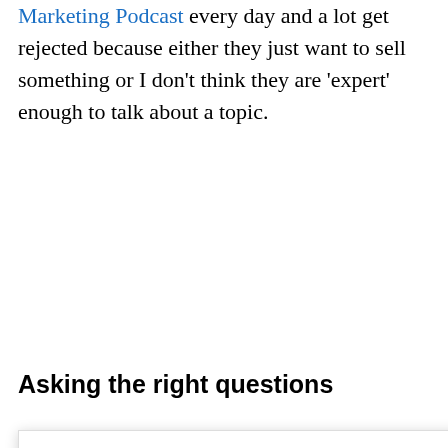I get guest pitches for my Marketing Podcast every day and a lot get rejected because either they just want to sell something or I don't think they are 'expert' enough to talk about a topic.
Asking the right questions
We use cookies on our website to give you the most relevant experience by remembering your preferences and repeat visits. By clicking "Accept All", you consent to the use of ALL the cookies. However, you may visit "Cookie Settings" to provide a controlled consent.